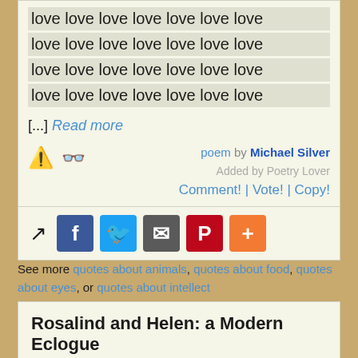love love love love love love love
love love love love love love love
love love love love love love love
love love love love love love love
[...] Read more
poem by Michael Silver
Added by Poetry Lover
Comment! | Vote! | Copy!
[Figure (screenshot): Share bar with share icon, Facebook, Twitter, Email, Pinterest, and plus buttons]
See more quotes about animals, quotes about food, quotes about eyes, or quotes about intellect
Rosalind and Helen: a Modern Eclogue
ROSALIND, HELEN, and her Child.
SCENE. The Shore of the Lake of Como.